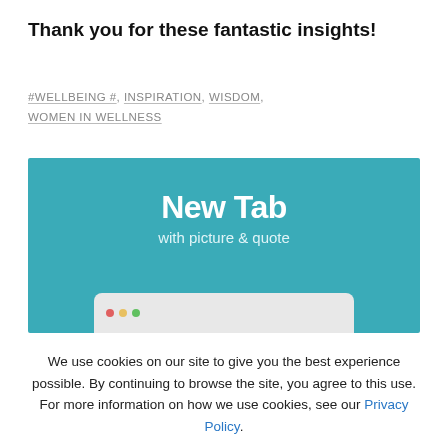Thank you for these fantastic insights!
#WELLBEING #, INSPIRATION, WISDOM, WOMEN IN WELLNESS
[Figure (screenshot): A teal/turquoise banner with white bold text reading 'New Tab' and subtitle 'with picture & quote', with a browser chrome mock-up at the bottom]
We use cookies on our site to give you the best experience possible. By continuing to browse the site, you agree to this use. For more information on how we use cookies, see our Privacy Policy.
CONTINUE